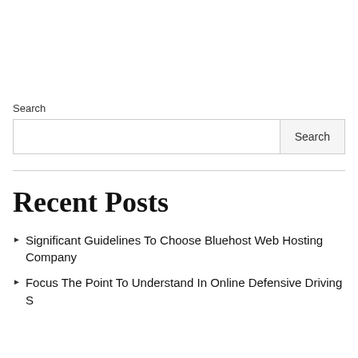Search
Recent Posts
Significant Guidelines To Choose Bluehost Web Hosting Company
Focus The Point To Understand In Online Defensive Driving S...